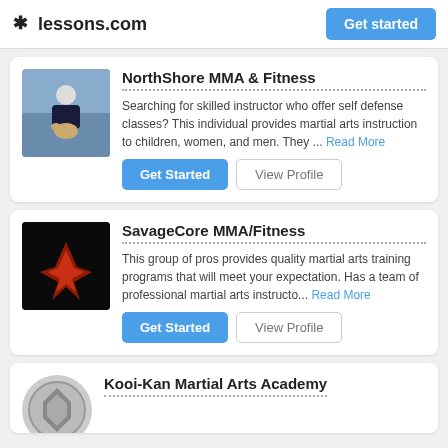* lessons.com | Get started
NorthShore MMA & Fitness
Searching for skilled instructor who offer self defense classes? This individual provides martial arts instruction to children, women, and men. They ... Read More
SavageCore MMA/Fitness
This group of pros provides quality martial arts training programs that will meet your expectation. Has a team of professional martial arts instructo... Read More
Kooi-Kan Martial Arts Academy